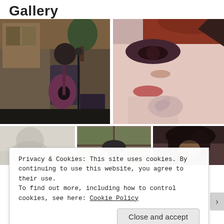Gallery
[Figure (photo): Woman playing acoustic guitar in a cafe/bar setting, black and white striped top, dark hair, microphone stand visible]
[Figure (photo): Close-up artistic/stylized portrait of a woman's face with heavy eye makeup and a floral tattoo visible, reddish tones]
[Figure (photo): Blurry/out-of-focus figure, light tones]
[Figure (photo): Person wearing dark beanie hat seen through window panes]
[Figure (photo): Dark-haired person, partially visible, dark background]
Privacy & Cookies: This site uses cookies. By continuing to use this website, you agree to their use.
To find out more, including how to control cookies, see here: Cookie Policy
Close and accept